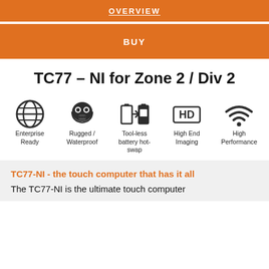OVERVIEW
BUY
TC77 – NI for Zone 2 / Div 2
[Figure (infographic): Five icons in a row: Enterprise Ready (globe), Rugged / Waterproof (gas mask), Tool-less battery hot-swap (battery swap), High End Imaging (HD badge), High Performance (wifi signal)]
TC77-NI - the touch computer that has it all
The TC77-NI is the ultimate touch computer